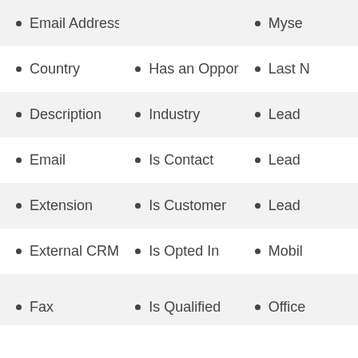Email Address
Myself
Country
Has an Opportunity
Last N
Description
Industry
Lead
Email
Is Contact
Lead
Extension
Is Customer
Lead
External CRM ID
Is Opted In
Mobil
Fax
Is Qualified
Office